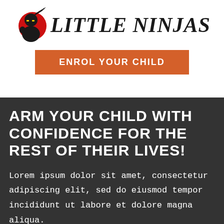[Figure (logo): Little Ninjas logo: ninja character in black cape with red circle background, beside bold italic text 'LITTLE NINJAS']
ENROL YOUR CHILD
ARM YOUR CHILD WITH CONFIDENCE FOR THE REST OF THEIR LIVES!
Lorem ipsum dolor sit amet, consectetur adipiscing elit, sed do eiusmod tempor incididunt ut labore et dolore magna aliqua.